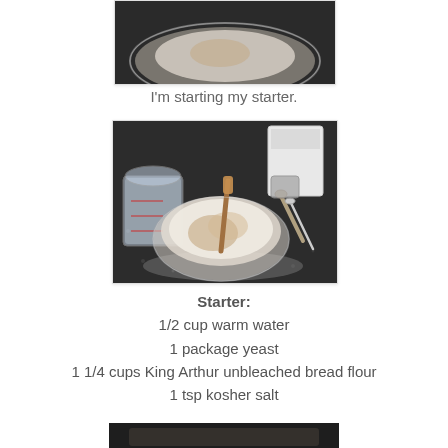[Figure (photo): Top-cropped photo of a glass bowl with flour mixture on a dark granite countertop]
I'm starting my starter.
[Figure (photo): Photo of a glass bowl containing a flour and yeast mixture with a wooden spoon, a glass measuring cup, measuring spoons, and a container of flour on a dark granite countertop]
Starter:
1/2 cup warm water
1 package yeast
1 1/4 cups King Arthur unbleached bread flour
1 tsp kosher salt
[Figure (photo): Bottom-cropped photo, partially visible, of another cooking step on a dark surface]